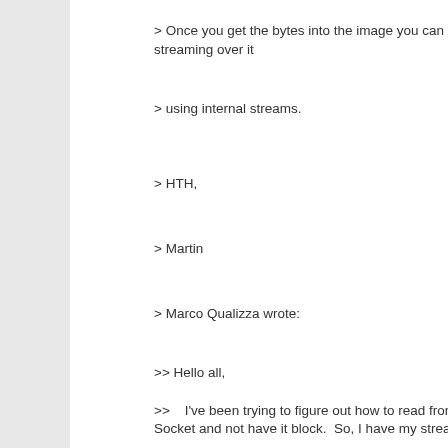> Once you get the bytes into the image you can start streaming over it
> using internal streams.
> HTH,
> Martin
> Marco Qualizza wrote:
>> Hello all,
>>    I've been trying to figure out how to read from a Socket and not have it block.  So, I have my stream:
>>       ioStream := aSocketAccessor readAppendStream.